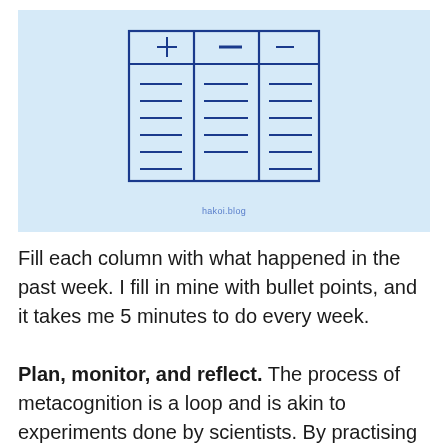[Figure (illustration): A three-column table diagram with '+', '−', '−' symbols in the header row and horizontal lines representing content rows in each column, drawn in dark blue outline on a light blue background. Watermark 'hakoi.blog' below the diagram.]
Fill each column with what happened in the past week. I fill in mine with bullet points, and it takes me 5 minutes to do every week.
Plan, monitor, and reflect. The process of metacognition is a loop and is akin to experiments done by scientists. By practising this loop